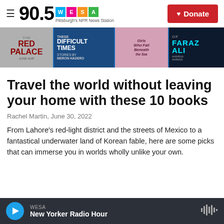90.5 WESA – Pittsburgh's NPR News Station | Donate
[Figure (illustration): Book covers banner showing: The Red Palace, These Difficult Times (Stories by Meron Hadero), Girls Who Fall Beneath the Sea, Of Faraz Ali (Aamina Ahmad)]
Travel the world without leaving your home with these 10 books
Rachel Martin,  June 30, 2022
From Lahore's red-light district and the streets of Mexico to a fantastical underwater land of Korean fable, here are some picks that can immerse you in worlds wholly unlike your own.
WESA – New Yorker Radio Hour